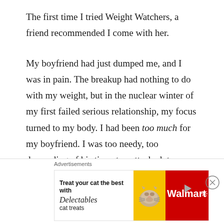The first time I tried Weight Watchers, a friend recommended I come with her.

My boyfriend had just dumped me, and I was in pain. The breakup had nothing to do with my weight, but in the nuclear winter of my first failed serious relationship, my focus turned to my body. I had been too much for my boyfriend. I was too needy, too demanding of his time, too attached, too emotional. I saw my body as a physical representation of my personal failings. I wanted to be smaller. I wanted to be less. I wanted to want less. A diet seemed like a
Advertisements
[Figure (other): Walmart advertisement banner: 'Treat your cat the best with Delectables cat treats' with a cat image on yellow background and Walmart logo on red background]